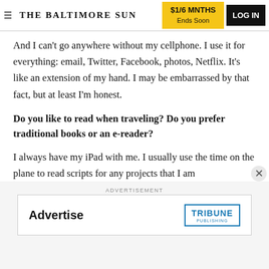THE BALTIMORE SUN | $1/6 MNTHS Ends Soon | LOG IN
And I can't go anywhere without my cellphone. I use it for everything: email, Twitter, Facebook, photos, Netflix. It's like an extension of my hand. I may be embarrassed by that fact, but at least I'm honest.
Do you like to read when traveling? Do you prefer traditional books or an e-reader?
I always have my iPad with me. I usually use the time on the plane to read scripts for any projects that I am
ADVERTISEMENT
[Figure (other): Advertisement banner: 'Advertise' text on left, Tribune Publishing logo on right]